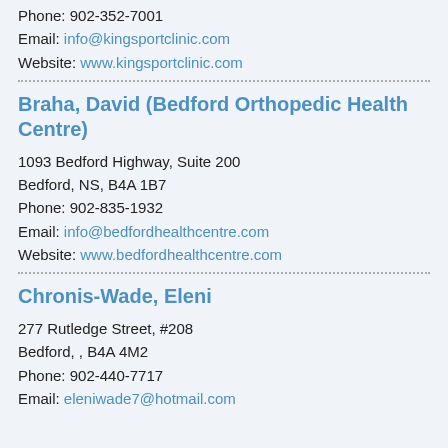Phone: 902-352-7001
Email: info@kingsportclinic.com
Website: www.kingsportclinic.com
Braha, David (Bedford Orthopedic Health Centre)
1093 Bedford Highway, Suite 200
Bedford, NS, B4A 1B7
Phone: 902-835-1932
Email: info@bedfordhealthcentre.com
Website: www.bedfordhealthcentre.com
Chronis-Wade, Eleni
277 Rutledge Street, #208
Bedford, , B4A 4M2
Phone: 902-440-7717
Email: eleniwade7@hotmail.com